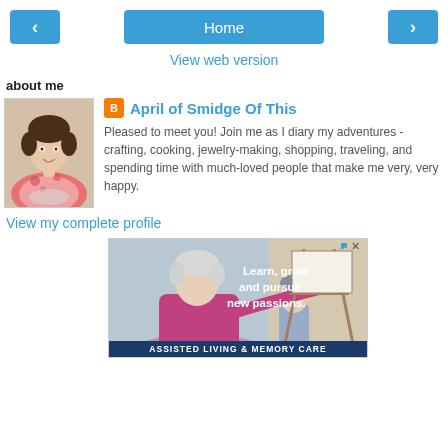< Home >
View web version
about me
[Figure (photo): Profile photo of April, a woman in a floral top smiling at the camera]
April of Smidge Of This
Pleased to meet you! Join me as I diary my adventures - crafting, cooking, jewelry-making, shopping, traveling, and spending time with much-loved people that make me very, very happy.
View my complete profile
[Figure (photo): Advertisement for Assisted Living & Memory Care showing an older woman painting. Text reads: Learn, grow and pursue new passions. ASSISTED LIVING & MEMORY CARE]